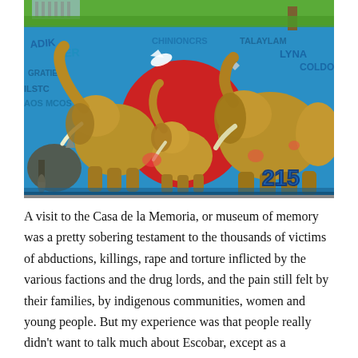[Figure (photo): A street mural depicting a group of elephants painted in golden-brown tones against a vivid blue graffiti background with a large red circle. The elephants are shown in a family grouping with raised trunks. Additional graffiti lettering in blue and white surrounds the animals. Green grass and trees are visible above the mural wall.]
A visit to the Casa de la Memoria, or museum of memory was a pretty sobering testament to the thousands of victims of abductions, killings, rape and torture inflicted by the various factions and the drug lords, and the pain still felt by their families, by indigenous communities, women and young people. But my experience was that people really didn't want to talk much about Escobar, except as a damaging chapter in